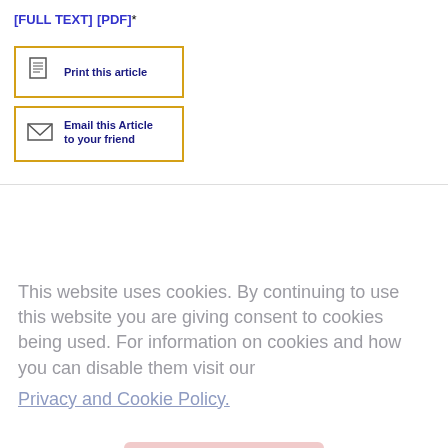[FULL TEXT] [PDF]*
[Figure (other): Print this article button with document icon, orange border]
[Figure (other): Email this Article to your friend button with envelope icon, orange border]
This website uses cookies. By continuing to use this website you are giving consent to cookies being used. For information on cookies and how you can disable them visit our
Privacy and Cookie Policy.
AGREE & PROCEED